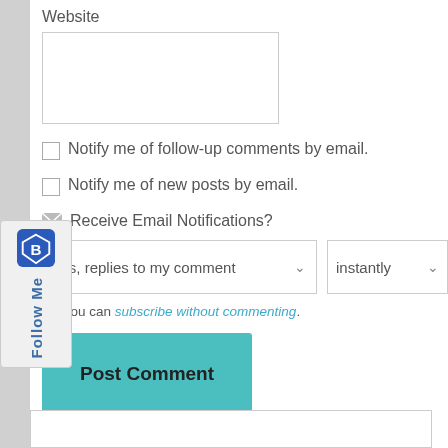Website
Notify me of follow-up comments by email.
Notify me of new posts by email.
Receive Email Notifications?
yes, replies to my comment
instantly
Or, you can subscribe without commenting.
Post Comment
Confirm you are NOT a spammer